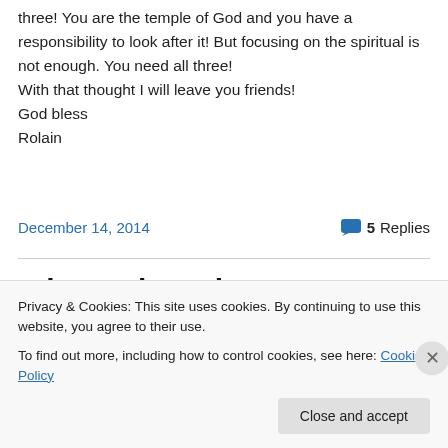three! You are the temple of God and you have a responsibility to look after it! But focusing on the spiritual is not enough. You need all three!
With that thought I will leave you friends!
God bless
Rolain
December 14, 2014
5 Replies
Why we have been
Privacy & Cookies: This site uses cookies. By continuing to use this website, you agree to their use.
To find out more, including how to control cookies, see here: Cookie Policy